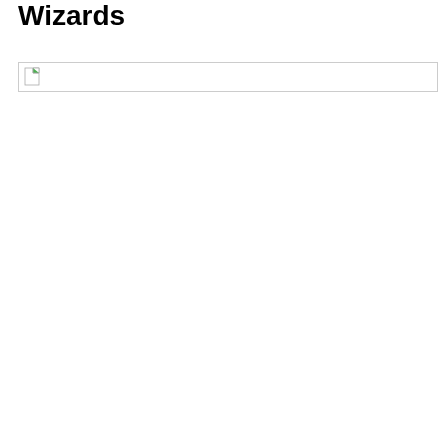Wizards
[Figure (other): Broken image placeholder with a small icon showing a document with a green folded corner, inside a bordered box]